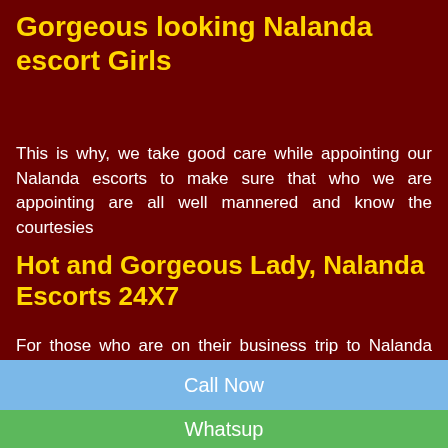Gorgeous looking Nalanda escort Girls
This is why, we take good care while appointing our Nalanda escorts to make sure that who we are appointing are all well mannered and know the courtesies
Hot and Gorgeous Lady, Nalanda Escorts 24X7
For those who are on their business trip to Nalanda and arrive late night or very early in the morning or any time of day, often miss the chance of getting benefits of Escort
Call Now
Whatsup